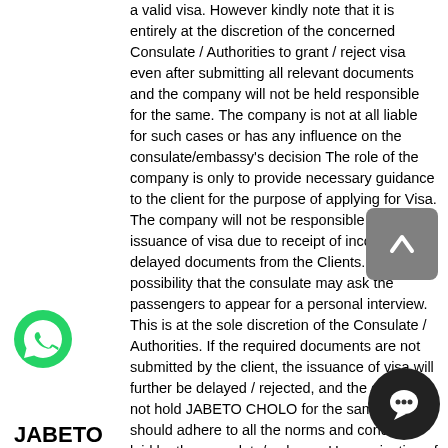a valid visa. However kindly note that it is entirely at the discretion of the concerned Consulate / Authorities to grant / reject visa even after submitting all relevant documents and the company will not be held responsible for the same. The company is not at all liable for such cases or has any influence on the consulate/embassy's decision The role of the company is only to provide necessary guidance to the client for the purpose of applying for Visa. The company will not be responsible for non-issuance of visa due to receipt of incomplete / delayed documents from the Clients. It is a possibility that the consulate may ask the passengers to appear for a personal interview. This is at the sole discretion of the Consulate / Authorities. If the required documents are not submitted by the client, the issuance of visa will further be delayed / rejected, and the client will not hold JABETO CHOLO for the same. Client should adhere to all the norms and conditions laid by the consulate/embassy Upon rejection of visa, if the client wishes to reapply for the visa, he/she is liable to pay again the requisite fees to the consulate and he/she will not claim from JABETO CHOLO
[Figure (logo): WhatsApp green phone icon]
[Figure (other): Gray scroll-to-top button with upward chevron]
[Figure (other): Dark chat bubble button]
JABETO